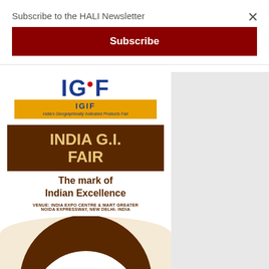Subscribe to the HALI Newsletter
Subscribe
[Figure (illustration): India G.I. Fair promotional poster. Shows IGIF logo in blue on yellow background, brown box with 'INDIA G.I. FAIR' text in gold, tagline 'The mark of Indian Excellence', venue text 'VENUE: INDIA EXPO CENTRE & MART GREATER NOIDA EXPRESSWAY, NEW DELHI- INDIA', and circular design at bottom showing '26-28 AUGUST' dates.]